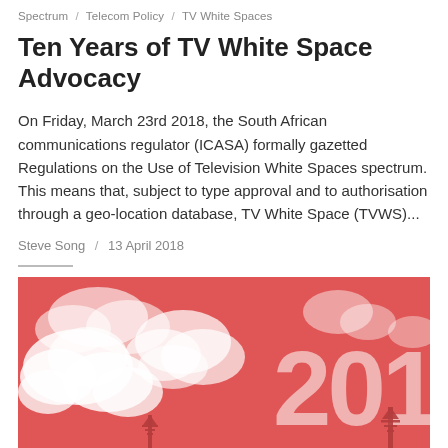Spectrum / Telecom Policy / TV White Spaces
Ten Years of TV White Space Advocacy
On Friday, March 23rd 2018, the South African communications regulator (ICASA) formally gazetted Regulations on the Use of Television White Spaces spectrum. This means that, subject to type approval and to authorisation through a geo-location database, TV White Space (TVWS)...
Steve Song  /  13 April 2018
[Figure (photo): Red-tinted image showing clouds in the sky with large white numbers '201' visible, and communications towers silhouetted at the bottom.]